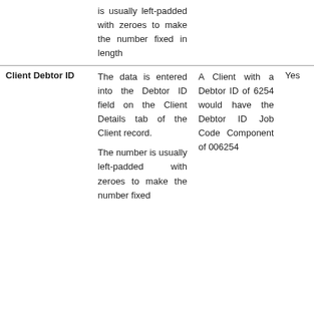|  |  |  |  |
| --- | --- | --- | --- |
|  | is usually left-padded with zeroes to make the number fixed in length |  |  |
| Client Debtor ID | The data is entered into the Debtor ID field on the Client Details tab of the Client record.

The number is usually left-padded with zeroes to make the number fixed | A Client with a Debtor ID of 6254 would have the Debtor ID Job Code Component of 006254 | Yes |